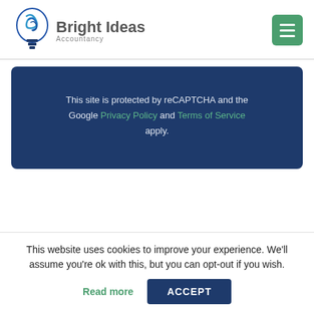[Figure (logo): Bright Ideas Accountancy logo with a stylized blue light bulb icon and the text 'Bright Ideas' in bold gray and 'Accountancy' in smaller gray text]
[Figure (other): Green hamburger menu button with three white horizontal lines]
This site is protected by reCAPTCHA and the Google Privacy Policy and Terms of Service apply.
This website uses cookies to improve your experience. We'll assume you're ok with this, but you can opt-out if you wish.
Read more
ACCEPT